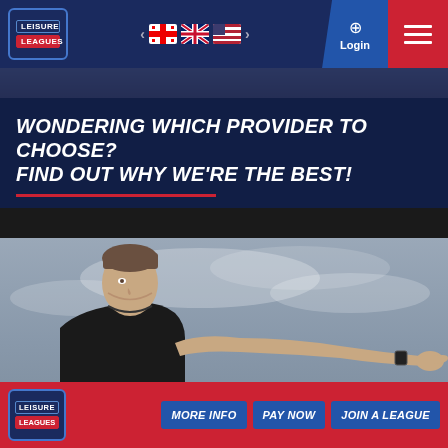[Figure (screenshot): Leisure Leagues website navigation bar with logo, language flags (Georgian, UK, US), login button, and hamburger menu on red background]
[Figure (photo): Dark banner strip with blurred sports/football background]
WONDERING WHICH PROVIDER TO CHOOSE? FIND OUT WHY WE'RE THE BEST!
[Figure (photo): A male football referee in black kit pointing to the right, photographed against a cloudy sky background]
[Figure (logo): Leisure Leagues logo in footer]
MORE INFO
PAY NOW
JOIN A LEAGUE